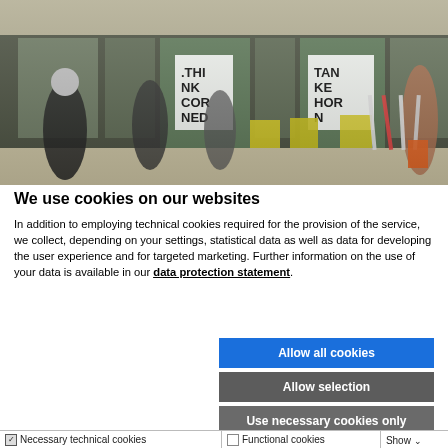[Figure (photo): Outdoor photo of people sitting at yellow tables and chairs in front of a building with large glass windows. Bicycles are parked to the right. Signs in windows read 'THINK CORNER' and 'TANKE HORN'.]
We use cookies on our websites
In addition to employing technical cookies required for the provision of the service, we collect, depending on your settings, statistical data as well as data for developing the user experience and for targeted marketing. Further information on the use of your data is available in our data protection statement.
Allow all cookies
Allow selection
Use necessary cookies only
| Necessary technical cookies | Functional cookies | Show |
| --- | --- | --- |